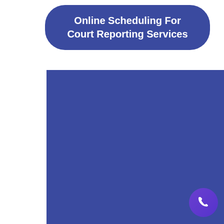Online Scheduling For Court Reporting Services
[Figure (screenshot): Large dark blue rectangle filling the lower portion of the page, with a purple circular phone icon button in the bottom-right area]